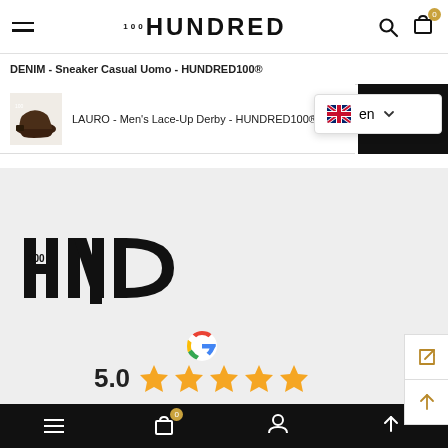[Figure (logo): HUNDRED brand logo in bold serif font]
DENIM - Sneaker Casual Uomo - HUNDRED100®
[Figure (photo): Dark brown leather derby shoe thumbnail]
LAURO - Men's Lace-Up Derby - HUNDRED100®
[Figure (logo): Language selector showing British flag and 'en' with dropdown arrow]
[Figure (logo): HND100 brand logo in black on gray background]
[Figure (logo): Google G logo]
5.0
[Figure (other): Five gold star rating icons]
Bottom navigation bar with menu, cart (0), account, and scroll-up icons